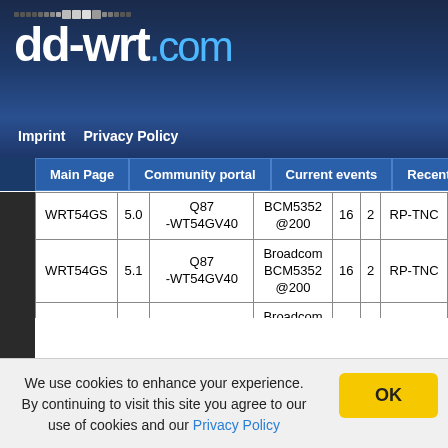[Figure (screenshot): dd-wrt.com website header with logo]
Imprint  Privacy Policy
Main Page | Community portal | Current events | Recent changes
| Model | Ver | Board ID | CPU | Flash | RAM | Antenna |
| --- | --- | --- | --- | --- | --- | --- |
| WRT54GS | 5.0 | Q87-WT54GV40 | BCM5352@200 | 16 | 2 | RP-TNC |
| WRT54GS | 5.1 | Q87-WT54GV40 | Broadcom BCM5352@200 | 16 | 2 | RP-TNC |
| WRT54GS | 6.0 | Q87-WT54GV60 | Broadcom BCM5352@200 | 16 | 2 | RP-TNC |
| WRT54GS | 7.0 | Q87-WRT54GSV7 | Broadcom BCM5354@240 | 16 | 2 | RP-TNC |
We use cookies to enhance your experience. By continuing to visit this site you agree to our use of cookies and our Privacy Policy